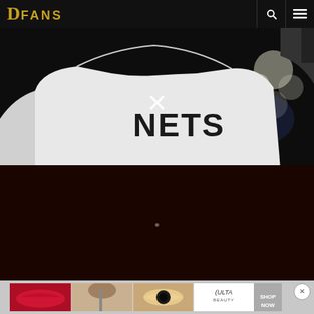DFANS
[Figure (photo): A person wearing a white Brooklyn Nets jersey photographed from behind, dark blurred background with bokeh lights]
[Figure (photo): Dark maroon/black content area with a small loading spinner dot in the center]
[Figure (photo): Ulta Beauty advertisement banner showing close-up beauty photos (lips, eye makeup, eyebrow brush) with Ulta logo and SHOP NOW text, with an X close button]